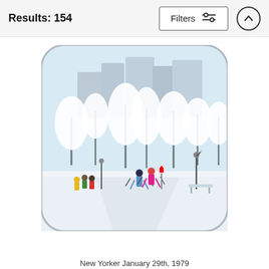Results: 154
[Figure (screenshot): Filter button with sliders icon and up arrow circle button in header bar]
[Figure (photo): A decorative throw pillow printed with a winter scene illustration showing people cross-country skiing in a snow-covered park with bare white trees and city buildings in the background.]
New Yorker January 29th, 1979